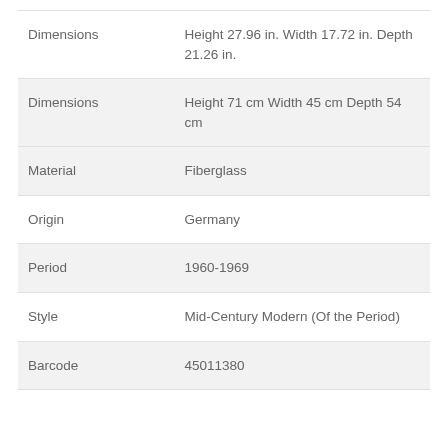| Field | Value |
| --- | --- |
| Dimensions | Height 27.96 in. Width 17.72 in. Depth 21.26 in. |
| Dimensions | Height 71 cm Width 45 cm Depth 54 cm |
| Material | Fiberglass |
| Origin | Germany |
| Period | 1960-1969 |
| Style | Mid-Century Modern (Of the Period) |
| Barcode | 45011380 |